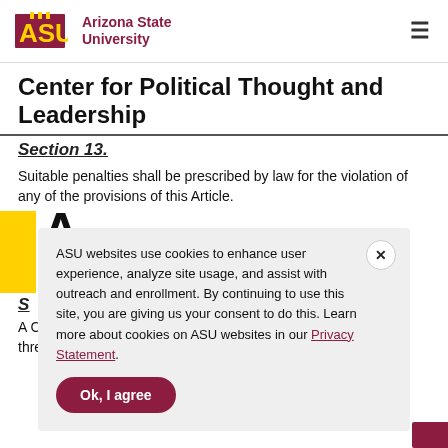[Figure (logo): Arizona State University logo with ASU text in maroon and gold, and 'Arizona State University' text beside it]
Center for Political Thought and Leadership
Section 13.
Suitable penalties shall be prescribed by law for the violation of any of the provisions of this Article.
ASU websites use cookies to enhance user experience, analyze site usage, and assist with outreach and enrollment. By continuing to use this site, you are giving us your consent to do this. Learn more about cookies on ASU websites in our Privacy Statement.
S
A Corporation Commission is hereby created to be composed of three persons, who shall be elected at the general election